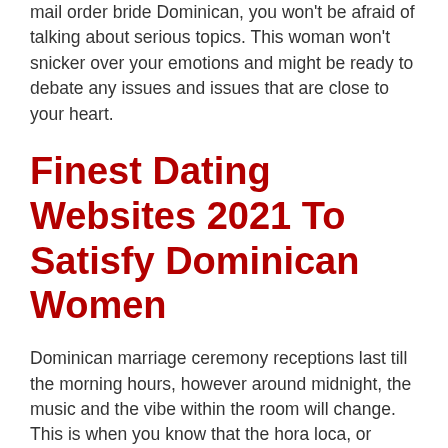mail order bride Dominican, you won't be afraid of talking about serious topics. This woman won't snicker over your emotions and might be ready to debate any issues and issues that are close to your heart.
Finest Dating Websites 2021 To Satisfy Dominican Women
Dominican marriage ceremony receptions last till the morning hours, however around midnight, the music and the vibe within the room will change. This is when you know that the hora loca, or crazy hour, has started and now everyone will celebration like it's their